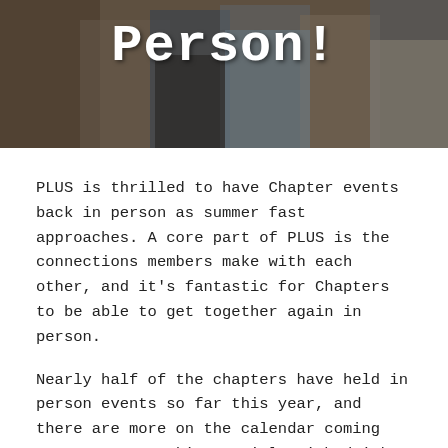[Figure (photo): Group photo of people together with large white bold text overlay reading 'Person!' on a warm-toned background]
Person!
PLUS is thrilled to have Chapter events back in person as summer fast approaches. A core part of PLUS is the connections members make with each other, and it's fantastic for Chapters to be able to get together again in person.
Nearly half of the chapters have held in person events so far this year, and there are more on the calendar coming up. From networking socials with drinks and food, to TopGolf, to events with a focus on the younger Future PLUS members, events have been thriving.